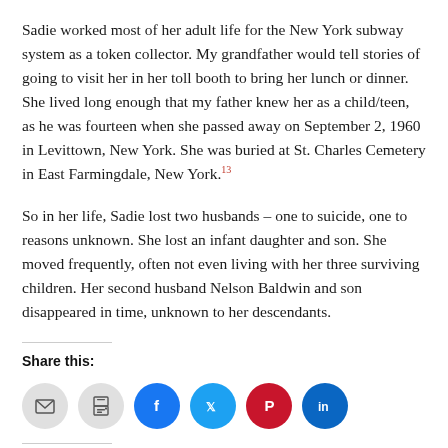Sadie worked most of her adult life for the New York subway system as a token collector. My grandfather would tell stories of going to visit her in her toll booth to bring her lunch or dinner. She lived long enough that my father knew her as a child/teen, as he was fourteen when she passed away on September 2, 1960 in Levittown, New York. She was buried at St. Charles Cemetery in East Farmingdale, New York.¹³
So in her life, Sadie lost two husbands – one to suicide, one to reasons unknown. She lost an infant daughter and son. She moved frequently, often not even living with her three surviving children. Her second husband Nelson Baldwin and son disappeared in time, unknown to her descendants.
Share this:
[Figure (other): Social sharing icons: email, print, Facebook, Twitter, Pinterest, LinkedIn]
Like this:
[Figure (other): Like button with star icon]